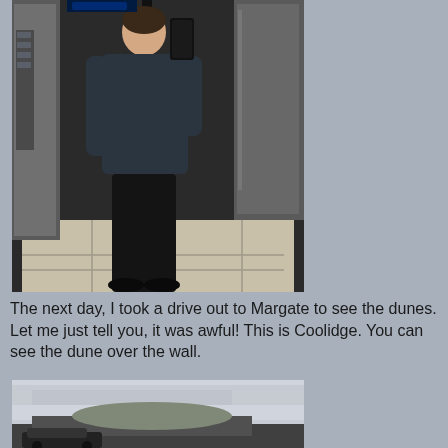[Figure (photo): A person taking a mirror selfie in what appears to be an elevator lobby, wearing a dark button-up shirt and dark pants, holding a black smartphone. The background shows metallic elevator doors and a tiled floor.]
The next day, I took a drive out to Margate to see the dunes.  Let me just tell you, it was awful!  This is Coolidge.  You can see the dune over the wall.
[Figure (photo): Partial photo showing a car and a dune or sand mound behind a wall under a cloudy sky, taken in Margate.]